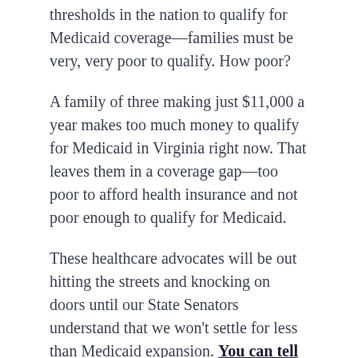thresholds in the nation to qualify for Medicaid coverage—families must be very, very poor to qualify. How poor?
A family of three making just $11,000 a year makes too much money to qualify for Medicaid in Virginia right now. That leaves them in a coverage gap—too poor to afford health insurance and not poor enough to qualify for Medicaid.
These healthcare advocates will be out hitting the streets and knocking on doors until our State Senators understand that we won't settle for less than Medicaid expansion. You can tell your State Senator too, right now.